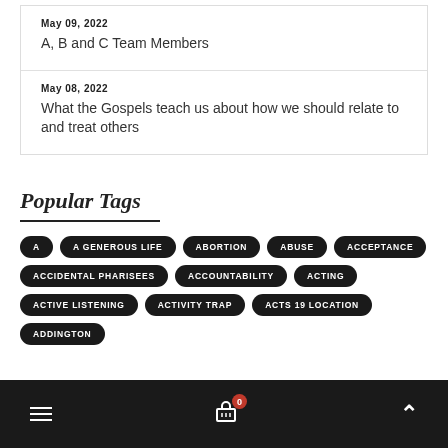May 09, 2022
A, B and C Team Members
May 08, 2022
What the Gospels teach us about how we should relate to and treat others
Popular Tags
A
A GENEROUS LIFE
ABORTION
ABUSE
ACCEPTANCE
ACCIDENTAL PHARISEES
ACCOUNTABILITY
ACTING
ACTIVE LISTENING
ACTIVITY TRAP
ACTS 19 LOCATION
ADDINGTON
≡  [cart icon] 0  ∧